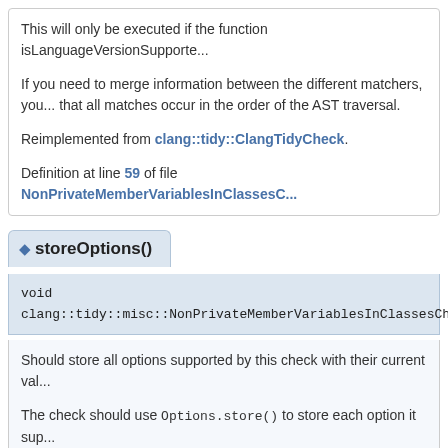This will only be executed if the function isLanguageVersionSupporte...
If you need to merge information between the different matchers, you... that all matches occur in the order of the AST traversal.
Reimplemented from clang::tidy::ClangTidyCheck.
Definition at line 59 of file NonPrivateMemberVariablesInClassesC...
◆ storeOptions()
void
clang::tidy::misc::NonPrivateMemberVariablesInClassesCheck::store...
Should store all options supported by this check with their current val...
The check should use Options.store() to store each option it sup...
Reimplemented from clang::tidy::ClangTidyCheck.
Definition at line 70 of file NonPrivateMemberVariablesInClassesC...